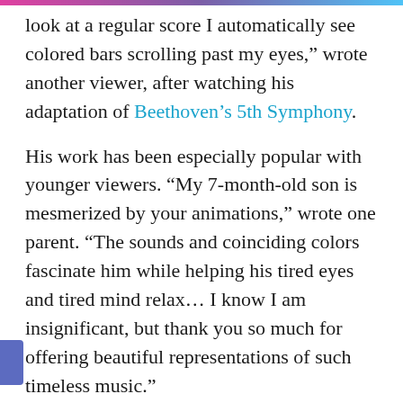look at a regular score I automatically see colored bars scrolling past my eyes,” wrote another viewer, after watching his adaptation of Beethoven’s 5th Symphony.
His work has been especially popular with younger viewers. “My 7-month-old son is mesmerized by your animations,” wrote one parent. “The sounds and coinciding colors fascinate him while helping his tired eyes and tired mind relax… I know I am insignificant, but thank you so much for offering beautiful representations of such timeless music.”
And one teenager wrote, “I started listening to classical music when I was 13 because of your videos now I’m 16 I’m learning this piece to be played on a